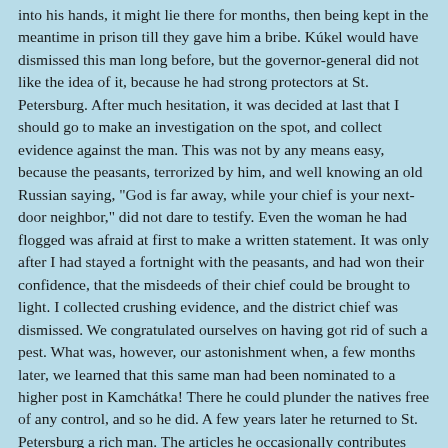into his hands, it might lie there for months, then being kept in the meantime in prison till they gave him a bribe. Kúkel would have dismissed this man long before, but the governor-general did not like the idea of it, because he had strong protectors at St. Petersburg. After much hesitation, it was decided at last that I should go to make an investigation on the spot, and collect evidence against the man. This was not by any means easy, because the peasants, terrorized by him, and well knowing an old Russian saying, "God is far away, while your chief is your next-door neighbor," did not dare to testify. Even the woman he had flogged was afraid at first to make a written statement. It was only after I had stayed a fortnight with the peasants, and had won their confidence, that the misdeeds of their chief could be brought to light. I collected crushing evidence, and the district chief was dismissed. We congratulated ourselves on having got rid of such a pest. What was, however, our astonishment when, a few months later, we learned that this same man had been nominated to a higher post in Kamchátka! There he could plunder the natives free of any control, and so he did. A few years later he returned to St. Petersburg a rich man. The articles he occasionally contributes now to the reactionary press are, as one might expect, full of high "patriotic" spirit.
The wave of reaction, as I have already said, had not then reached Siberia, and the political exiles continued to be treated with all possible leniency, as in Muravióff's time. When, in 1861, the poet